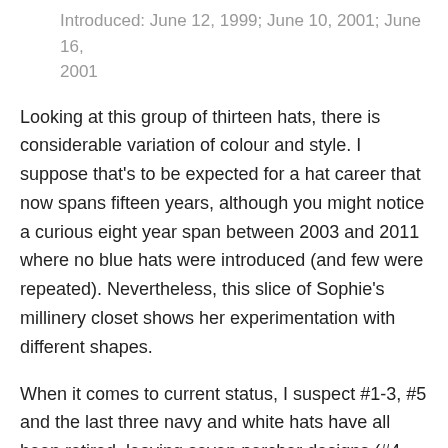Introduced: June 12, 1999; June 10, 2001; June 16, 2001
Looking at this group of thirteen hats, there is considerable variation of colour and style. I suppose that’s to be expected for a hat career that now spans fifteen years, although you might notice a curious eight year span between 2003 and 2011 where no blue hats were introduced (and few were repeated). Nevertheless, this slice of Sophie’s millinery closet shows her experimentation with different shapes.
When it comes to current status, I suspect #1-3, #5 and the last three navy and white hats have all been retired, leaving seven percher designs (#4, #6, #7, #9-12) and a lone fedora still in service. Of the retired hats, I would love to see #3, with its sleek texture and beautiful raised brim,